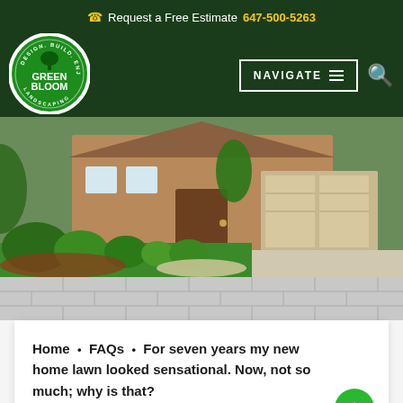Request a Free Estimate 647-500-5263
[Figure (logo): Greenbloom Landscaping circular logo with tree icon, green background, white border]
NAVIGATE
[Figure (photo): Hero image of a residential home with lush green landscaping, shrubs, lawn, and a three-car garage]
Home • FAQs • For seven years my new home lawn looked sensational. Now, not so much; why is that?